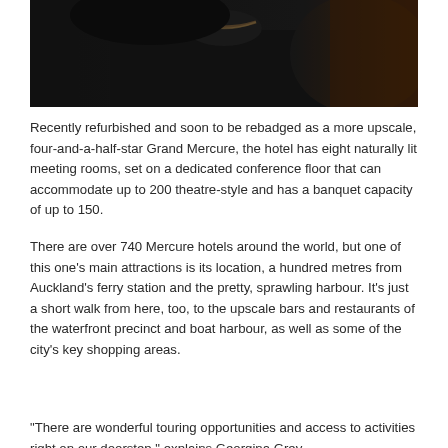[Figure (photo): Partial portrait photo of a person wearing dark clothing and a necklace, cropped to show lower face, neck and upper torso against a dark background]
Recently refurbished and soon to be rebadged as a more upscale, four-and-a-half-star Grand Mercure, the hotel has eight naturally lit meeting rooms, set on a dedicated conference floor that can accommodate up to 200 theatre-style and has a banquet capacity of up to 150.
There are over 740 Mercure hotels around the world, but one of this one's main attractions is its location, a hundred metres from Auckland's ferry station and the pretty, sprawling harbour. It's just a short walk from here, too, to the upscale bars and restaurants of the waterfront precinct and boat harbour, as well as some of the city's key shopping areas.
“There are wonderful touring opportunities and access to activities right on our doorstep,” explains Georgina Grey